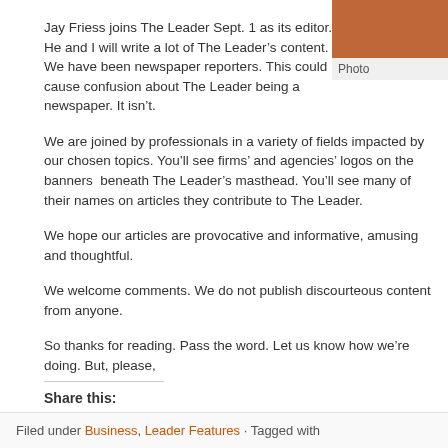[Figure (photo): Partial image of reddish-brown background (likely a photo) in top-right corner, with a photo label below it]
Jay Friess joins The Leader Sept. 1 as its editor. He and I will write a lot of The Leader’s content. We have been newspaper reporters. This could cause confusion about The Leader being a newspaper. It isn’t.
We are joined by professionals in a variety of fields impacted by our chosen topics. You’ll see firms’ and agencies’ logos on the banners beneath The Leader’s masthead. You’ll see many of their names on articles they contribute to The Leader.
We hope our articles are provocative and informative, amusing and thoughtful.
We welcome comments. We do not publish discourteous content from anyone.
So thanks for reading. Pass the word. Let us know how we’re doing. But, please,
Share this:
Email  Facebook  Twitter  Pinterest  LinkedIn
Tweet
Filed under Business, Leader Features · Tagged with